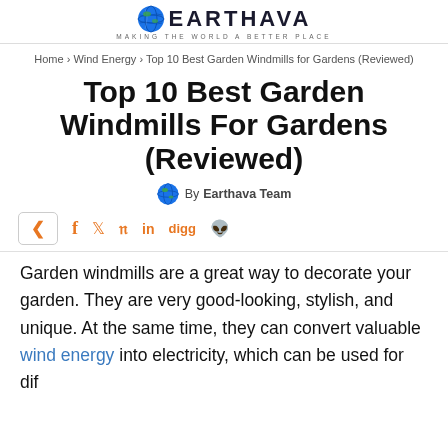EARTHAVA — MAKING THE WORLD A BETTER PLACE
Home › Wind Energy › Top 10 Best Garden Windmills for Gardens (Reviewed)
Top 10 Best Garden Windmills For Gardens (Reviewed)
By Earthava Team
[Figure (infographic): Social share bar with icons: share, facebook (f), twitter (bird), pinterest (p), linkedin (in), digg, reddit]
Garden windmills are a great way to decorate your garden. They are very good-looking, stylish, and unique. At the same time, they can convert valuable wind energy into electricity, which can be used for different purposes.